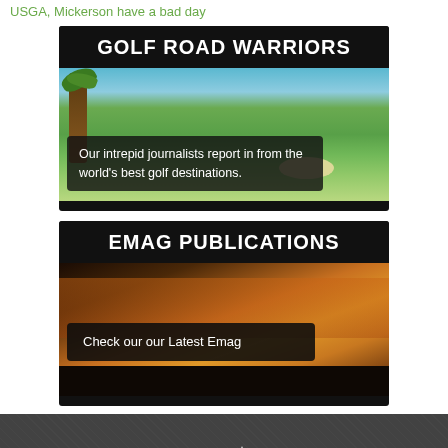USGA, Mickerson have a bad day
[Figure (illustration): Golf Road Warriors banner with tropical golf course background — palm trees, fairway, sand bunker — with dark overlay title bar reading GOLF ROAD WARRIORS and caption box reading 'Our intrepid journalists report in from the world's best golf destinations.']
[Figure (illustration): Emag Publications banner with golden sunset golf course background and dark overlay title bar reading EMAG PUBLICATIONS and caption box reading 'Check our our Latest Emag']
[Figure (logo): The A Position logo — white text THE A POSITION with green arch/swoosh above the letter A, tagline WHERE YOU WANT TO LAND]
A network of great golf and travel writing. Brought to you by trusted journalists.
© The A Position